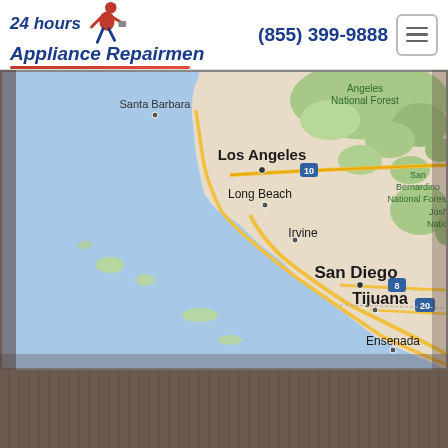[Figure (logo): 24 hours Appliance Repairmen logo with running repairman icon]
(855) 399-9888
[Figure (map): Google Maps screenshot showing Southern California coast including Los Angeles, Long Beach, Irvine, San Diego, Tijuana, Ensenada, Santa Barbara, Angeles National Forest, San Bernardino National Forest]
[Figure (photo): Dark brown wooden surface background at bottom of page]